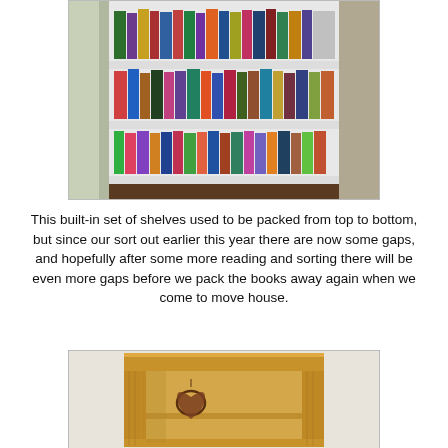[Figure (photo): A built-in white bookshelf packed with colorful books on multiple shelves, photographed from the front.]
This built-in set of shelves used to be packed from top to bottom, but since our sort out earlier this year there are now some gaps, and hopefully after some more reading and sorting there will be even more gaps before we pack the books away again when we come to move house.
[Figure (photo): A wooden pine bookcase or cabinet with a visible open shelf, a decorative heart-shaped item hanging on it, photographed from the front.]